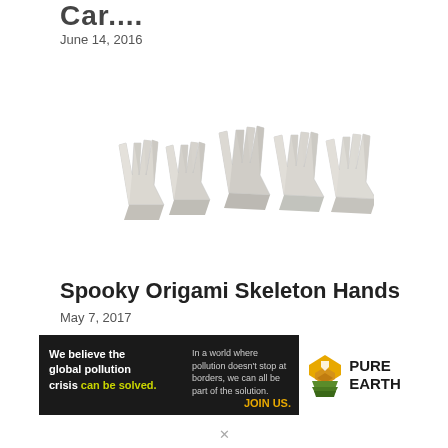Car....
June 14, 2016
[Figure (photo): White origami skeleton hands folded from paper, arranged in a row]
Spooky Origami Skeleton Hands
May 7, 2017
[Figure (infographic): Pure Earth advertisement banner: 'We believe the global pollution crisis can be solved. In a world where pollution doesn't stop at borders, we can all be part of the solution. JOIN US.' with Pure Earth logo.]